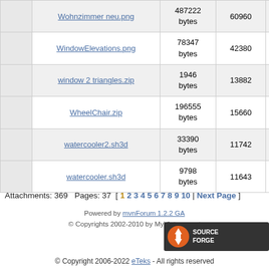|  | Name | Size | Downloads | Extra |
| --- | --- | --- | --- | --- |
|  | Wohnzimmer neu.png | 487222 bytes | 60960 |  |
|  | WindowElevations.png | 78347 bytes | 42380 | w...e |
|  | window 2 triangles.zip | 1946 bytes | 13882 |  |
|  | WheelChair.zip | 196555 bytes | 15660 | W |
|  | watercooler2.sh3d | 33390 bytes | 11742 |  |
|  | watercooler.sh3d | 9798 bytes | 11643 |  |
Attachments: 369   Pages: 37   [ 1 2 3 4 5 6 7 8 9 10 | Next Page ]
Powered by mvnForum 1.2.2 GA
© Copyrights 2002-2010 by MyVietnam.net
[Figure (logo): SourceForge logo]
© Copyright 2006-2022 eTeks - All rights reserved